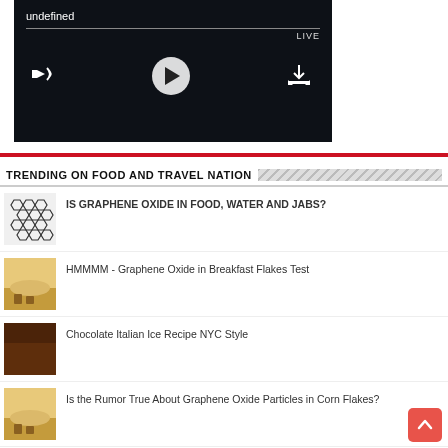[Figure (screenshot): Video player with dark background showing 'undefined' title, a progress bar, LIVE label, and playback controls including speaker, play button, and download icon.]
TRENDING ON FOOD AND TRAVEL NATION
IS GRAPHENE OXIDE IN FOOD, WATER AND JABS?
HMMMM - Graphene Oxide in Breakfast Flakes Test
Chocolate Italian Ice Recipe NYC Style
Is the Rumor True About Graphene Oxide Particles in Corn Flakes?